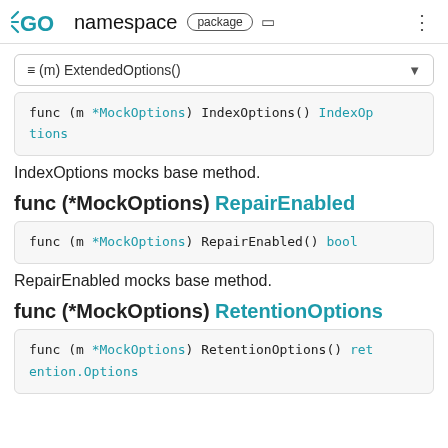GO namespace  package
≡ (m) ExtendedOptions()
func (m *MockOptions) IndexOptions() IndexOptions
IndexOptions mocks base method.
func (*MockOptions) RepairEnabled
func (m *MockOptions) RepairEnabled() bool
RepairEnabled mocks base method.
func (*MockOptions) RetentionOptions
func (m *MockOptions) RetentionOptions() retention.Options